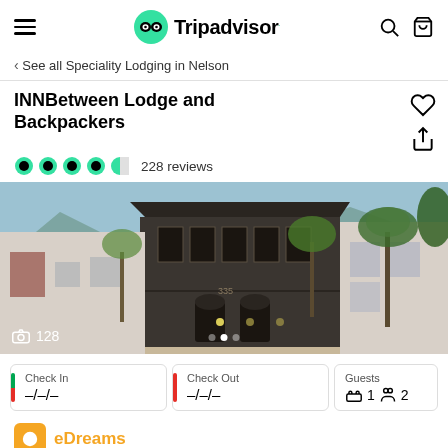Tripadvisor
< See all Speciality Lodging in Nelson
INNBetween Lodge and Backpackers
228 reviews
[Figure (photo): Exterior photo of INNBetween Lodge and Backpackers, a two-story Victorian building at 335, with palm trees and mountains in background. Photo count shows 128 photos.]
Check In –/–/–
Check Out –/–/–
Guests 1 2
eDreams